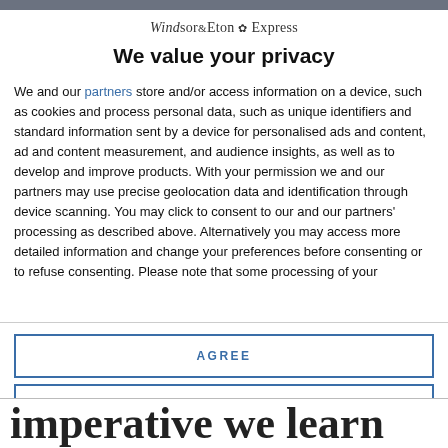[Figure (logo): Windsor & Eton Express newspaper logo]
We value your privacy
We and our partners store and/or access information on a device, such as cookies and process personal data, such as unique identifiers and standard information sent by a device for personalised ads and content, ad and content measurement, and audience insights, as well as to develop and improve products. With your permission we and our partners may use precise geolocation data and identification through device scanning. You may click to consent to our and our partners' processing as described above. Alternatively you may access more detailed information and change your preferences before consenting or to refuse consenting. Please note that some processing of your
AGREE
MORE OPTIONS
imperative we learn